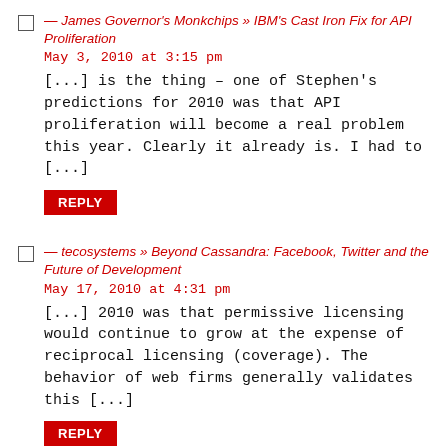— James Governor's Monkchips » IBM's Cast Iron Fix for API Proliferation
May 3, 2010 at 3:15 pm
[...] is the thing – one of Stephen's predictions for 2010 was that API proliferation will become a real problem this year. Clearly it already is. I had to [...]
REPLY
— tecosystems » Beyond Cassandra: Facebook, Twitter and the Future of Development
May 17, 2010 at 4:31 pm
[...] 2010 was that permissive licensing would continue to grow at the expense of reciprocal licensing (coverage). The behavior of web firms generally validates this [...]
REPLY
Leave a Reply to sogrady Cancel reply
Your email address will not be published. Required fields are marked *